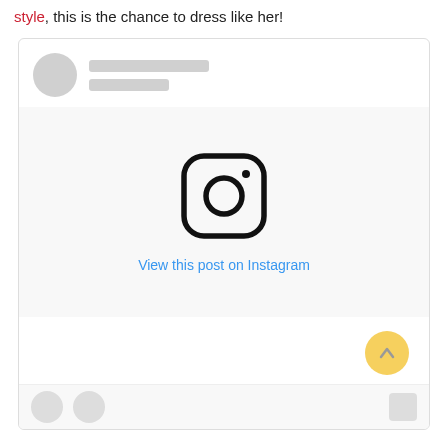style, this is the chance to dress like her!
[Figure (screenshot): Instagram embed placeholder showing avatar, blurred name lines, Instagram logo icon, and 'View this post on Instagram' link text]